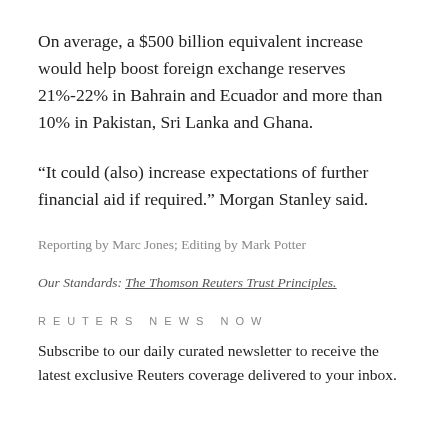On average, a $500 billion equivalent increase would help boost foreign exchange reserves 21%-22% in Bahrain and Ecuador and more than 10% in Pakistan, Sri Lanka and Ghana.
“It could (also) increase expectations of further financial aid if required.” Morgan Stanley said.
Reporting by Marc Jones; Editing by Mark Potter
Our Standards: The Thomson Reuters Trust Principles.
REUTERS NEWS NOW
Subscribe to our daily curated newsletter to receive the latest exclusive Reuters coverage delivered to your inbox.